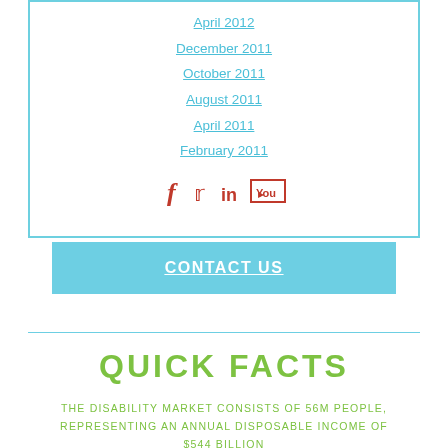April 2012
December 2011
October 2011
August 2011
April 2011
February 2011
[Figure (other): Social media icons: Facebook, Twitter, LinkedIn, YouTube in red/orange]
CONTACT US
QUICK FACTS
THE DISABILITY MARKET CONSISTS OF 56M PEOPLE, REPRESENTING AN ANNUAL DISPOSABLE INCOME OF $544 BILLION